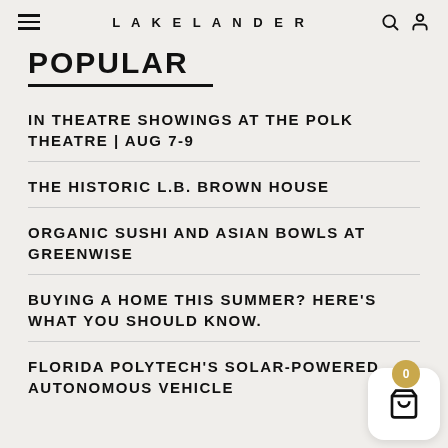LAKELANDER
POPULAR
IN THEATRE SHOWINGS AT THE POLK THEATRE | AUG 7-9
THE HISTORIC L.B. BROWN HOUSE
ORGANIC SUSHI AND ASIAN BOWLS AT GREENWISE
BUYING A HOME THIS SUMMER? HERE'S WHAT YOU SHOULD KNOW.
FLORIDA POLYTECH'S SOLAR-POWERED AUTONOMOUS VEHICLE